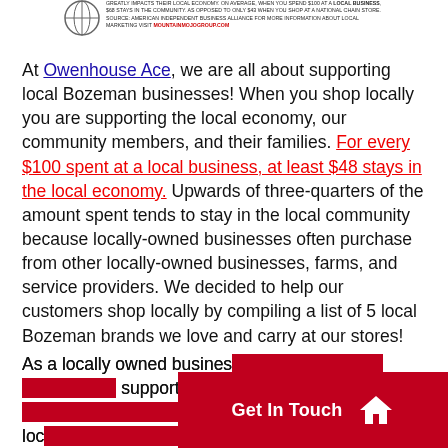GREATLY IMPACTS THEIR LOCAL ECONOMY. ON AVERAGE, WHEN YOU SPEND $100 AT A LOCAL BUSINESS, $68 STAYS IN THE COMMUNITY. AS OPPOSED TO ONLY $43 WHEN YOU SHOP AT A NATIONAL CHAIN STORE. SOURCE: AMERICAN INDEPENDENT BUSINESS ALLIANCE FOR MORE INFORMATION ABOUT LOCAL MARKETING VISIT MOUNTAINMOJOGROUP.COM
At Owenhouse Ace, we are all about supporting local Bozeman businesses! When you shop locally you are supporting the local economy, our community members, and their families. For every $100 spent at a local business, at least $48 stays in the local economy. Upwards of three-quarters of the amount spent tends to stay in the local community because locally-owned businesses often purchase from other locally-owned businesses, farms, and service providers. We decided to help our customers shop locally by compiling a list of 5 local Bozeman brands we love and carry at our stores!
As a locally owned business ourselves, we are proud of our support of this community and are always looking to carry products made by other locally-owned businesses in Bozeman. We wanted to share the love for some other